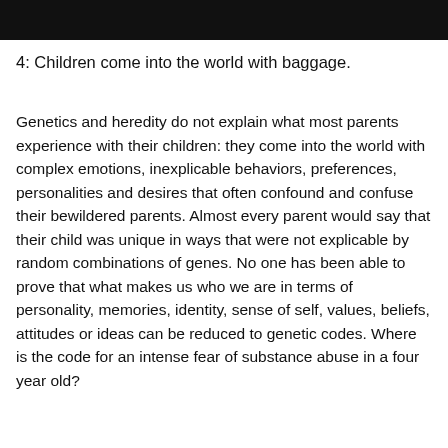[Figure (photo): Dark/black photograph at the top of the page, partially visible]
4: Children come into the world with baggage.
Genetics and heredity do not explain what most parents experience with their children: they come into the world with complex emotions, inexplicable behaviors, preferences, personalities and desires that often confound and confuse their bewildered parents. Almost every parent would say that their child was unique in ways that were not explicable by random combinations of genes. No one has been able to prove that what makes us who we are in terms of personality, memories, identity, sense of self, values, beliefs, attitudes or ideas can be reduced to genetic codes. Where is the code for an intense fear of substance abuse in a four year old?